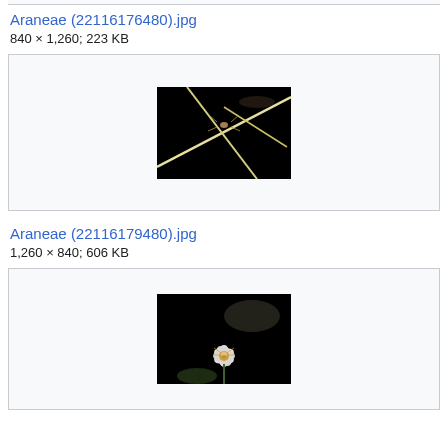Araneae (22116176480).jpg
840 × 1,260; 223 KB
[Figure (photo): A spider or insect on thin grass blades against a black background]
Araneae (22116179480).jpg
1,260 × 840; 606 KB
[Figure (photo): A spider on a white flower against a dark background]